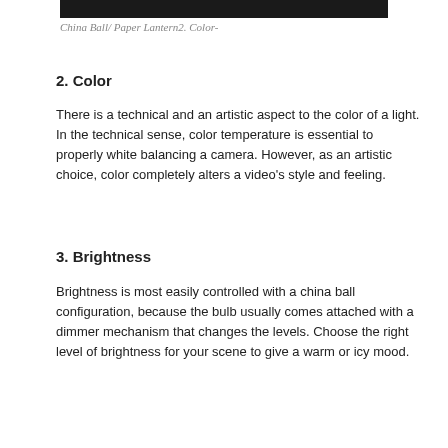[Figure (photo): Dark photograph strip showing China Ball / Paper Lantern, partially visible at top of page]
China Ball/ Paper Lantern2. Color-
2. Color
There is a technical and an artistic aspect to the color of a light. In the technical sense, color temperature is essential to properly white balancing a camera. However, as an artistic choice, color completely alters a video's style and feeling.
3. Brightness
Brightness is most easily controlled with a china ball configuration, because the bulb usually comes attached with a dimmer mechanism that changes the levels. Choose the right level of brightness for your scene to give a warm or icy mood.